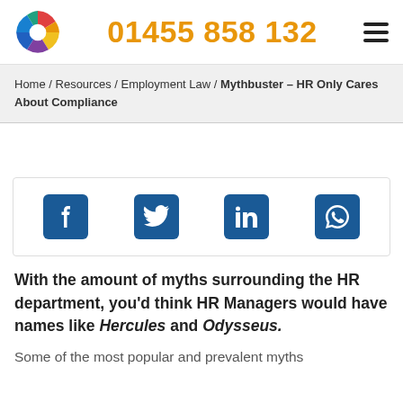01455 858 132
Home / Resources / Employment Law / Mythbuster – HR Only Cares About Compliance
[Figure (infographic): Social share icons: Facebook, Twitter, LinkedIn, WhatsApp]
With the amount of myths surrounding the HR department, you'd think HR Managers would have names like Hercules and Odysseus.
Some of the most popular and prevalent myths